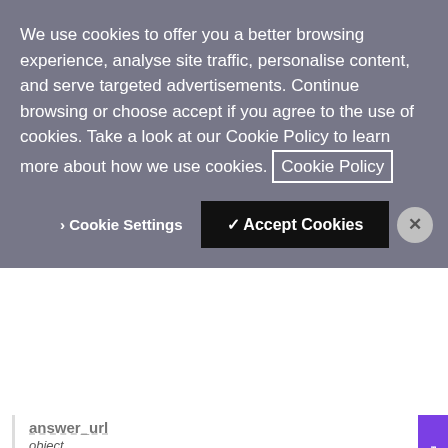We use cookies to offer you a better browsing experience, analyse site traffic, personalise content, and serve targeted advertisements. Continue browsing or choose accept if you agree to the use of cookies. Take a look at our Cookie Policy to learn more about how we use cookies. Cookie Policy
> Cookie Settings  ✓ Accept Cookies  ×
answer_url
object
The URL that Vonage makes a request to when a call is placed/received. Must return an NCCO
address
string
The URL that Vonage makes a request to when a call is placed/received. Must return an NCCO
http_method
string